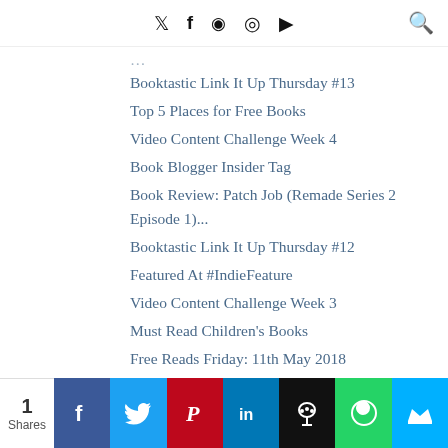Social media icons: Twitter, Facebook, Pinterest, Instagram, YouTube, Search
Booktastic Link It Up Thursday #13
Top 5 Places for Free Books
Video Content Challenge Week 4
Book Blogger Insider Tag
Book Review: Patch Job (Remade Series 2 Episode 1)...
Booktastic Link It Up Thursday #12
Featured At #IndieFeature
Video Content Challenge Week 3
Must Read Children's Books
Free Reads Friday: 11th May 2018
Booktastic Link It Up Thursday #11
Must Read Books: Recommended By Book Bloggers
Video Content Challenge Week 2
1 Shares — Share buttons: Facebook, Twitter, Pinterest, LinkedIn, Hootsuite, WhatsApp, Crown